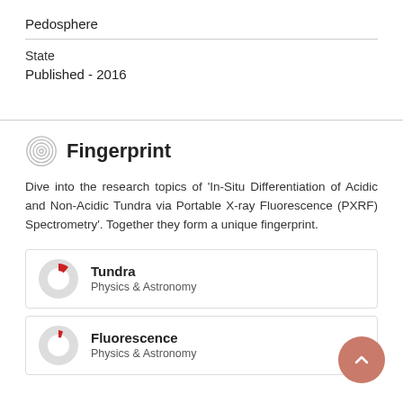Pedosphere
State
Published - 2016
Fingerprint
Dive into the research topics of 'In-Situ Differentiation of Acidic and Non-Acidic Tundra via Portable X-ray Fluorescence (PXRF) Spectrometry'. Together they form a unique fingerprint.
Tundra
Physics & Astronomy
Fluorescence
Physics & Astronomy